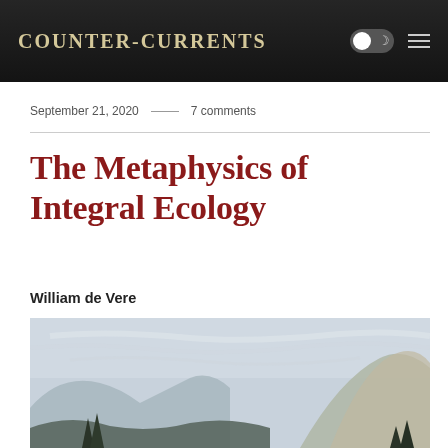Counter-Currents
September 21, 2020 — 7 comments
The Metaphysics of Integral Ecology
William de Vere
[Figure (illustration): A classical landscape painting of a mountain scene with misty sky, rocky peaks, and trees in the foreground.]